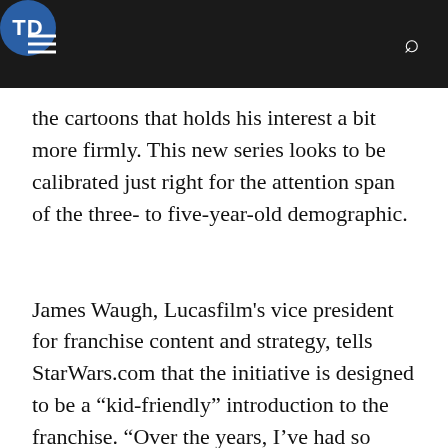TD
the cartoons that holds his interest a bit more firmly. This new series looks to be calibrated just right for the attention span of the three- to five-year-old demographic.
James Waugh, Lucasfilm's vice president for franchise content and strategy, tells StarWars.com that the initiative is designed to be a “kid-friendly” introduction to the franchise. “Over the years, I’ve had so many of my friends who are parents tell me how much they wanted to introduce their kids to Star Wars but didn’t feel that their kids were quite ready for the movies yet,” he says. As the trailer for the series demonstrates, the episodes will repurpose some of the dialogue and scenes from the original films, utilizing an